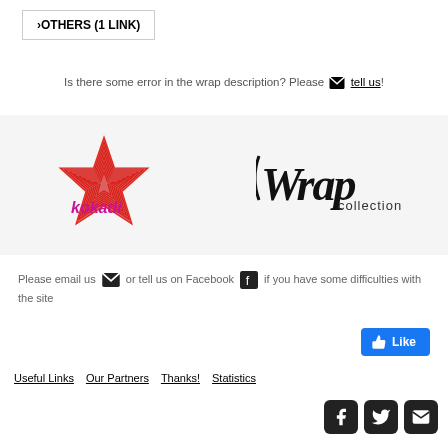›OTHERS (1 LINK)
Is there some error in the wrap description? Please ✉ tell us!
[Figure (logo): Kokadi brand logo with red star and pink text]
[Figure (logo): Wrap Collection brand logo in script font]
Please email us ✉ or tell us on Facebook 👍 if you have some difficulties with the site
Like
Useful Links
Our Partners
Thanks!
Statistics